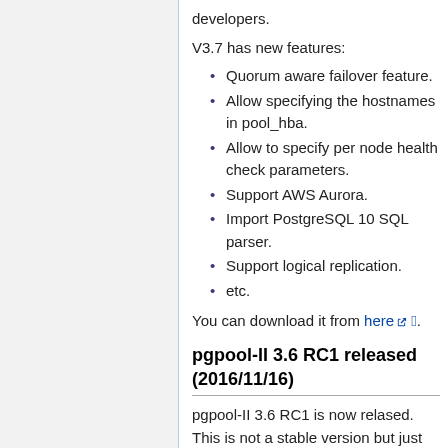developers.
V3.7 has new features:
Quorum aware failover feature.
Allow specifying the hostnames in pool_hba.
Allow to specify per node health check parameters.
Support AWS Aurora.
Import PostgreSQL 10 SQL parser.
Support logical replication.
etc.
You can download it from here.
pgpool-II 3.6 RC1 released (2016/11/16)
pgpool-II 3.6 RC1 is now relased. This is not a stable version but just for developers.